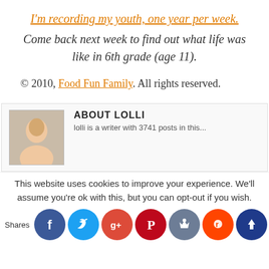I'm recording my youth, one year per week.
Come back next week to find out what life was like in 6th grade (age 11).
© 2010, Food Fun Family. All rights reserved.
[Figure (photo): Author photo - woman smiling]
ABOUT LOLLI
Lolli is a writer with 3741 posts in this...
This website uses cookies to improve your experience. We'll assume you're ok with this, but you can opt-out if you wish.
Shares
[Figure (infographic): Social share icons: Facebook, Twitter, Google+, Pinterest, Like, Reddit, Crown]